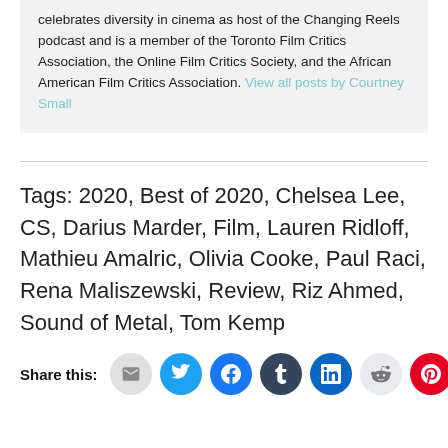celebrates diversity in cinema as host of the Changing Reels podcast and is a member of the Toronto Film Critics Association, the Online Film Critics Society, and the African American Film Critics Association. View all posts by Courtney Small
Tags: 2020, Best of 2020, Chelsea Lee, CS, Darius Marder, Film, Lauren Ridloff, Mathieu Amalric, Olivia Cooke, Paul Raci, Rena Maliszewski, Review, Riz Ahmed, Sound of Metal, Tom Kemp
Share this: